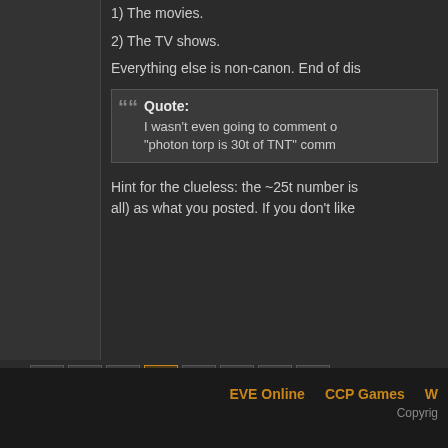1) The movies.
2) The TV shows.
Everything else is non-canon. End of dis
Quote: I wasn't even going to comment o... "photon torp is 30t of TNT" comm
Hint for the clueless: the ~25t number is all) as what you posted. If you don't like
1 2 3 4 5 — EVE Online   CCP Games   W   Copyright